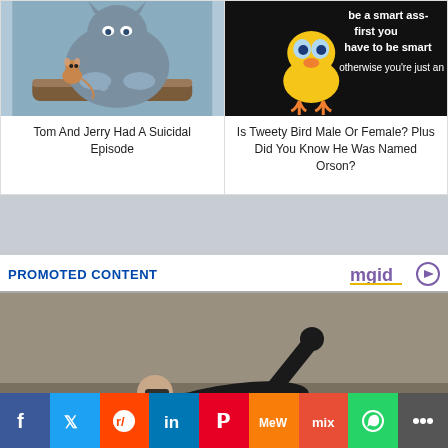[Figure (photo): Tom and Jerry cartoon screenshot showing Tom looking scared at a small mouse on a log]
Tom And Jerry Had A Suicidal Episode
[Figure (photo): Tweety Bird cartoon on black background with text: 'be a smart ass- first you have to be smart otherwise you're just an as']
Is Tweety Bird Male Or Female? Plus Did You Know He Was Named Orson?
[Figure (photo): Grey advertisement banner placeholder]
PROMOTED CONTENT
[Figure (photo): Person in black leather jacket lying on the ground with arm raised, resembling Matrix movie scene]
[Figure (infographic): Social share bar with Facebook, Twitter, Reddit, LinkedIn, Pinterest, MeWe, Mix, WhatsApp, Share buttons]